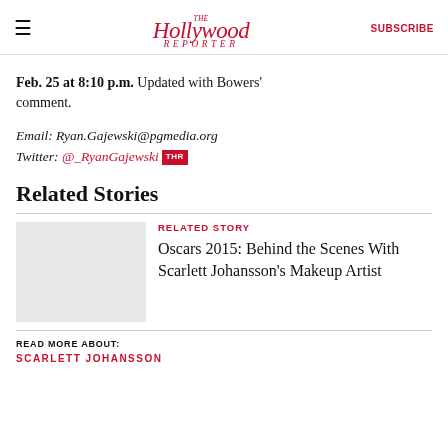The Hollywood Reporter | SUBSCRIBE
Feb. 25 at 8:10 p.m. Updated with Bowers' comment.
Email: Ryan.Gajewski@pgmedia.org
Twitter: @_RyanGajewski THR
Related Stories
RELATED STORY
Oscars 2015: Behind the Scenes With Scarlett Johansson's Makeup Artist
READ MORE ABOUT:
SCARLETT JOHANSSON